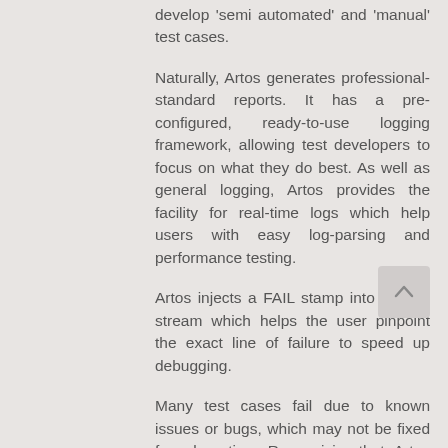develop 'semi automated' and 'manual' test cases.
Naturally, Artos generates professional-standard reports. It has a pre-configured, ready-to-use logging framework, allowing test developers to focus on what they do best. As well as general logging, Artos provides the facility for real-time logs which help users with easy log-parsing and performance testing.
Artos injects a FAIL stamp into the log stream which helps the user pinpoint the exact line of failure to speed up debugging.
Many test cases fail due to known issues or bugs, which may not be fixed for a long time. Recognizing that, Artos team created a feature to handle known-to-fail test cases. This allows a bug tracking